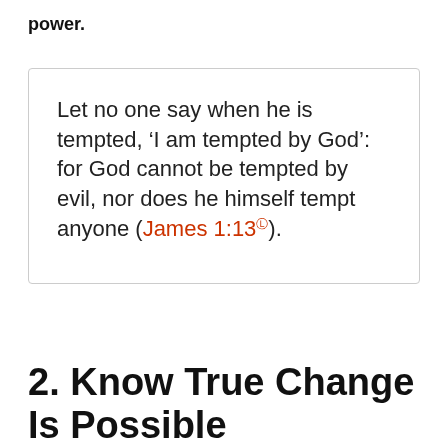power.
Let no one say when he is tempted, ‘I am tempted by God’: for God cannot be tempted by evil, nor does he himself tempt anyone (James 1:13Ⓛ).
2. Know True Change Is Possible